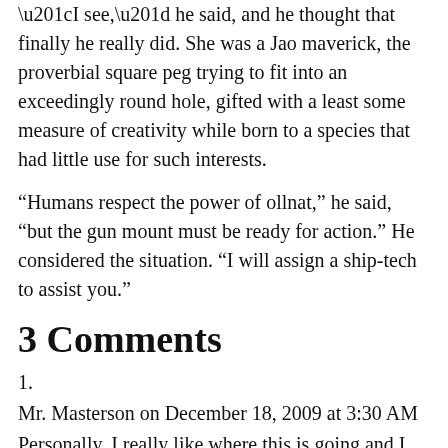“I see,” he said, and he thought that finally he really did. She was a Jao maverick, the proverbial square peg trying to fit into an exceedingly round hole, gifted with a least some measure of creativity while born to a species that had little use for such interests.
“Humans respect the power of ollnat,” he said, “but the gun mount must be ready for action.” He considered the situation. “I will assign a ship-tech to assist you.”
3 Comments
1.
Mr. Masterson on December 18, 2009 at 3:30 AM
Personally, I really like where this is going and I can’t wait to see what happens next…
2.